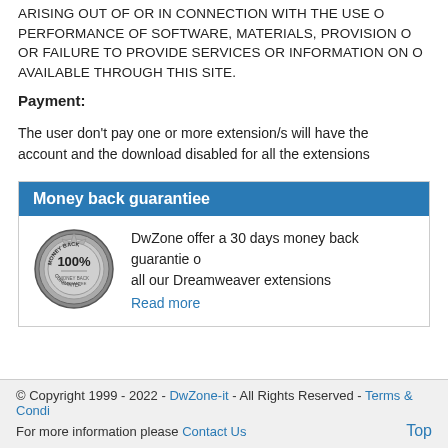ARISING OUT OF OR IN CONNECTION WITH THE USE O PERFORMANCE OF SOFTWARE, MATERIALS, PROVISION O OR FAILURE TO PROVIDE SERVICES OR INFORMATION ON O AVAILABLE THROUGH THIS SITE.
Payment:
The user don't pay one or more extension/s will have the account and the download disabled for all the extensions
Money back guarantiee
[Figure (illustration): 100% Money Back Guarantee badge/seal - circular stamp design in silver/grey with '100%' prominently displayed and 'MONEY BACK GUARANTEE' text around the edge]
DwZone offer a 30 days money back guarantie o all our Dreamweaver extensions
Read more
© Copyright 1999 - 2022 - DwZone-it - All Rights Reserved - Terms & Condi For more information please Contact Us Top